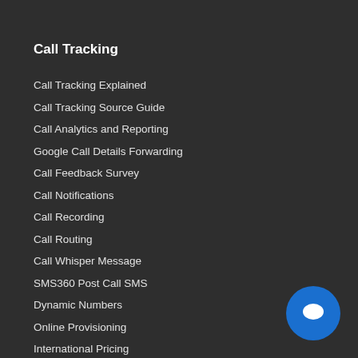Call Tracking
Call Tracking Explained
Call Tracking Source Guide
Call Analytics and Reporting
Google Call Details Forwarding
Call Feedback Survey
Call Notifications
Call Recording
Call Routing
Call Whisper Message
SMS360 Post Call SMS
Dynamic Numbers
Online Provisioning
International Pricing
Speech Analytics Explained
Interactive Mobile Numbers
Supercharged AdWords Call Forwarding
[Figure (illustration): Blue circular chat/messenger button icon in the bottom right corner]